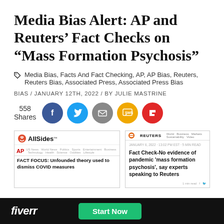Media Bias Alert: AP and Reuters' Fact Checks on “Mass Formation Psychosis”
Media Bias, Facts And Fact Checking, AP, AP Bias, Reuters, Reuters Bias, Associated Press, Associated Press Bias
BIAS / JANUARY 12TH, 2022 / BY JULIE MASTRINE
558 Shares
[Figure (screenshot): Screenshot of AllSides page showing AP article: FACT FOCUS: Unfounded theory used to dismiss COVID measures]
[Figure (screenshot): Screenshot of Reuters article: Fact Check-No evidence of pandemic 'mass formation psychosis', say experts speaking to Reuters]
fiverr  Start Now